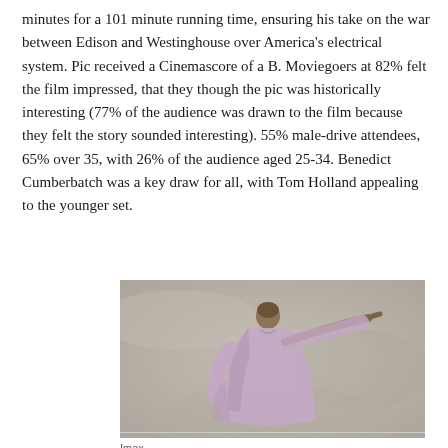minutes for a 101 minute running time, ensuring his take on the war between Edison and Westinghouse over America's electrical system. Pic received a Cinemascore of a B. Moviegoers at 82% felt the film impressed, that they though the pic was historically interesting (77% of the audience was drawn to the film because they felt the story sounded interesting). 55% male-drive attendees, 65% over 35, with 26% of the audience aged 25-34. Benedict Cumberbatch was a key draw for all, with Tom Holland appealing to the younger set.
[Figure (photo): A person seen from behind, wearing a light pink/lavender robe or tunic, with their right arm extended and pointing outward, against a muted gray-beige rocky background.]
Imax